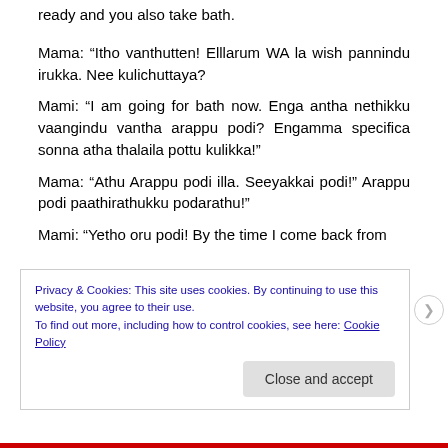ready and you also take bath.
Mama: “Itho vanthutten! Elllarum WA la wish pannindu irukka. Nee kulichuttaya?
Mami: “I am going for bath now. Enga antha nethikku vaangindu vantha arappu podi? Engamma specifica sonna atha thalaila pottu kulikka!”
Mama: “Athu Arappu podi illa. Seeyakkai podi!” Arappu podi paathirathukku podarathu!”
Mami: “Yetho oru podi! By the time I come back from
Privacy & Cookies: This site uses cookies. By continuing to use this website, you agree to their use.
To find out more, including how to control cookies, see here: Cookie Policy
Close and accept